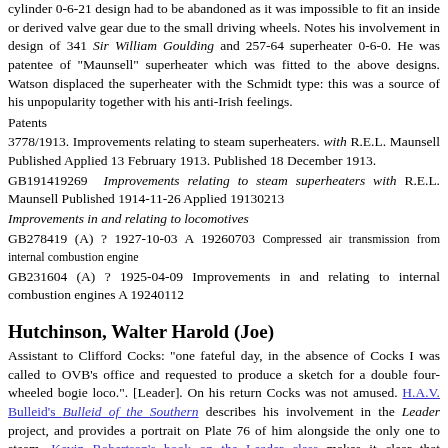cylinder 0-6-21 design had to be abandoned as it was impossible to fit an inside or derived valve gear due to the small driving wheels. Notes his involvement in design of 341 Sir William Goulding and 257-64 superheater 0-6-0. He was patentee of "Maunsell" superheater which was fitted to the above designs. Watson displaced the superheater with the Schmidt type: this was a source of his unpopularity together with his anti-Irish feelings.
Patents
3778/1913. Improvements relating to steam superheaters. with R.E.L. Maunsell Published Applied 13 February 1913. Published 18 December 1913.
GB191419269 Improvements relating to steam superheaters with R.E.L. Maunsell Published 1914-11-26 Applied 19130213
Improvements in and relating to locomotives
GB278419 (A) ? 1927-10-03 A 19260703 Compressed air transmission from internal combustion engine
GB231604 (A) ? 1925-04-09 Improvements in and relating to internal combustion engines A 19240112
Hutchinson, Walter Harold (Joe)
Assistant to Clifford Cocks: "one fateful day, in the absence of Cocks I was called to OVB's office and requested to produce a sketch for a double four-wheeled bogie loco.". [Leader]. On his return Cocks was not amused. H.A.V. Bulleid's Bulleid of the Southern describes his involvement in the Leader project, and provides a portrait on Plate 76 of him alongside the only one to steam. Kevin Robertson's book on the Leader class makes it clear that Hutchinson was given the task of designing the sleeve valves. Contributed to discussion on Paper 451 by Sanford mentioning Great Western and Balgian chimneys..
Surnames beginning letter "I"